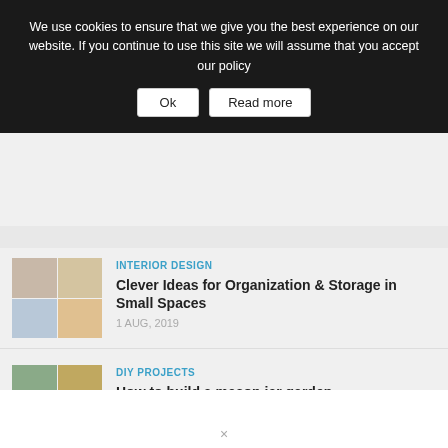We use cookies to ensure that we give you the best experience on our website. If you continue to use this site we will assume that you accept our policy
Ok
Read more
INTERIOR DESIGN
Clever Ideas for Organization & Storage in Small Spaces
1 AUG, 2019
[Figure (photo): Collage of 4 interior organization photos]
DIY PROJECTS
How to build a mason jar garden
1 AUG, 2019
[Figure (photo): Collage of 4 mason jar garden photos]
INTERIOR DESIGN
Stylish Ways to Decorate your Children's Bedroom
31 JUL, 2019
[Figure (photo): Collage of 4 children's bedroom decor photos]